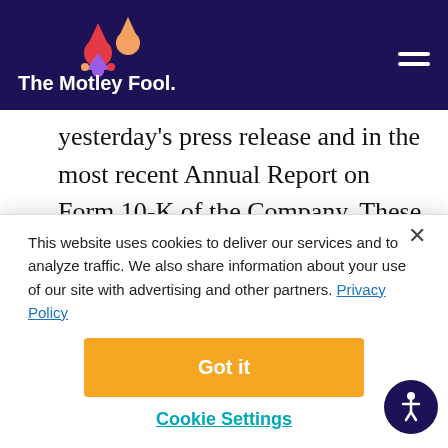The Motley Fool
yesterday's press release and in the most recent Annual Report on Form 10-K of the Company. These statements represent the Company's expectations only as of today, and should not be relied upon as representing the Company's estimates or views as of any date subsequent to
This website uses cookies to deliver our services and to analyze traffic. We also share information about your use of our site with advertising and other partners. Privacy Policy
Got it
Cookie Settings